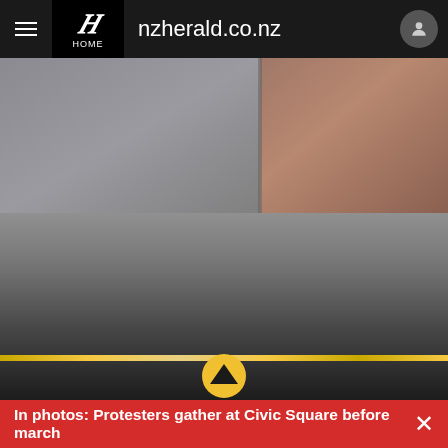nzherald.co.nz
[Figure (photo): Blurred photo showing people, upper portion has mixed grey and brown/skin tones suggesting faces or figures, lower portion is a darkening grey gradient with a gold circular play button overlay and gold progress bar at bottom]
In photos: Protesters gather at Civic Square before march